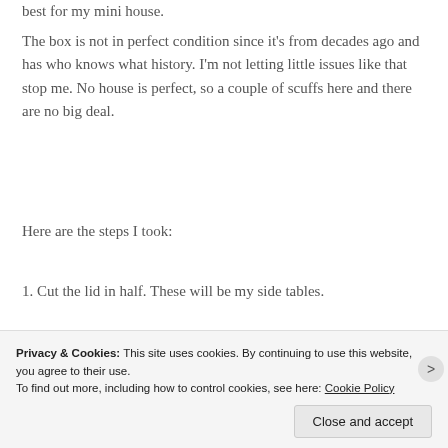best for my mini house.
The box is not in perfect condition since it's from decades ago and has who knows what history. I'm not letting little issues like that stop me. No house is perfect, so a couple of scuffs here and there are no big deal.
Here are the steps I took:
1. Cut the lid in half. These will be my side tables.
[Figure (photo): Photo showing a wooden box lid on a granite surface with an orange/terracotta colored stripe visible]
Privacy & Cookies: This site uses cookies. By continuing to use this website, you agree to their use. To find out more, including how to control cookies, see here: Cookie Policy
Close and accept